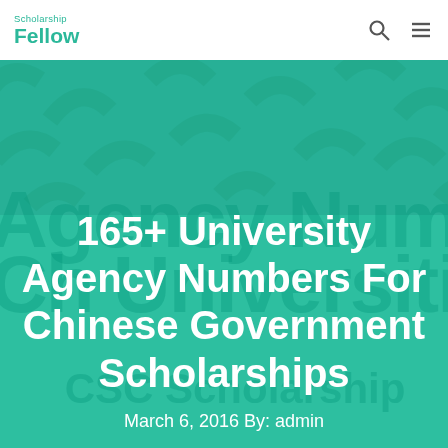Scholarship Fellow
165+ University Agency Numbers For Chinese Government Scholarships
March 6, 2016 By: admin